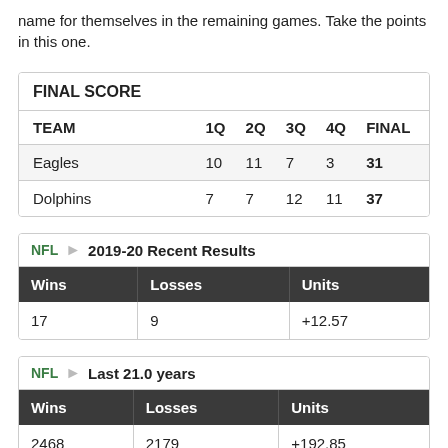name for themselves in the remaining games. Take the points in this one.
| FINAL SCORE |  |  |  |  |  |
| --- | --- | --- | --- | --- | --- |
| TEAM | 1Q | 2Q | 3Q | 4Q | FINAL |
| Eagles | 10 | 11 | 7 | 3 | 31 |
| Dolphins | 7 | 7 | 12 | 11 | 37 |
| Wins | Losses | Units |
| --- | --- | --- |
| 17 | 9 | +12.57 |
| Wins | Losses | Units |
| --- | --- | --- |
| 2468 | 2179 | +192.85 |